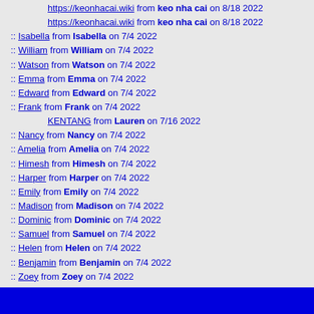https://keonhacai.wiki from keo nha cai on 8/18 2022
https://keonhacai.wiki from keo nha cai on 8/18 2022
:: Isabella from Isabella on 7/4 2022
:: William from William on 7/4 2022
:: Watson from Watson on 7/4 2022
:: Emma from Emma on 7/4 2022
:: Edward from Edward on 7/4 2022
:: Frank from Frank on 7/4 2022
KENTANG from Lauren on 7/16 2022
:: Nancy from Nancy on 7/4 2022
:: Amelia from Amelia on 7/4 2022
:: Himesh from Himesh on 7/4 2022
:: Harper from Harper on 7/4 2022
:: Emily from Emily on 7/4 2022
:: Madison from Madison on 7/4 2022
:: Dominic from Dominic on 7/4 2022
:: Samuel from Samuel on 7/4 2022
:: Helen from Helen on 7/4 2022
:: Benjamin from Benjamin on 7/4 2022
:: Zoey from Zoey on 7/4 2022
:: Kayla from Kayla on 7/4 2022
KENTANG from Ashley on 7/16 2022
:: Benjamin from Benjamin on 7/4 2022
:: Harold from Harold on 7/4 2022
<< Newest messages | < Newer messages | Input Form